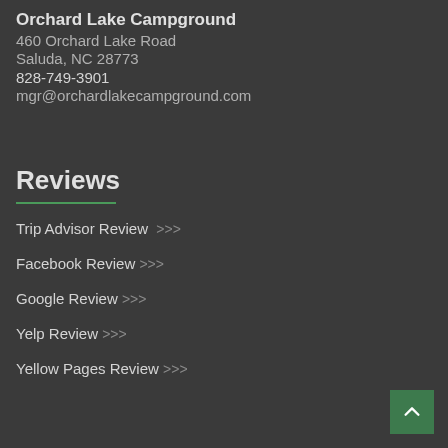Orchard Lake Campground
460 Orchard Lake Road
Saluda, NC 28773
828-749-3901
mgr@orchardlakecampground.com
Reviews
Trip Advisor Review >>>
Facebook Review >>>
Google Review >>>
Yelp Review >>>
Yellow Pages Review >>>